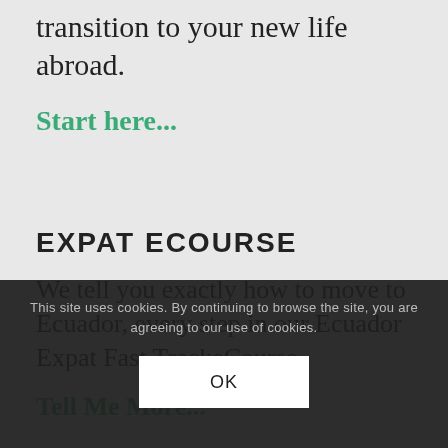transition to your new life abroad.
Start here...
EXPAT ECOURSE
We tell you exactly how to move to Ecuador, every step in our Ecuador Expat Fast TrackeCourse.
Tell Me More...
This site uses cookies. By continuing to browse the site, you are agreeing to our use of cookies.